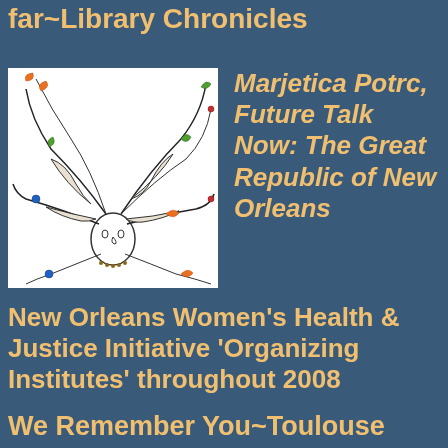far~Library Chronicles
[Figure (illustration): Line drawing of a figure with elaborate branching hair/plant-like forms growing from their head, colored with greens, oranges, and blues on white background]
Marjetica Potrc, Future Talk Now: The Great Republic of New Orleans
New Orleans Women's Health & Justice Initiative 'Organizing Institutes' throughout 2008
We Remember You~Toulouse